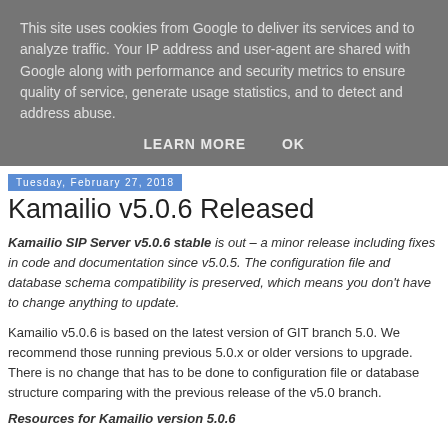This site uses cookies from Google to deliver its services and to analyze traffic. Your IP address and user-agent are shared with Google along with performance and security metrics to ensure quality of service, generate usage statistics, and to detect and address abuse.
LEARN MORE   OK
Tuesday, February 27, 2018
Kamailio v5.0.6 Released
Kamailio SIP Server v5.0.6 stable is out – a minor release including fixes in code and documentation since v5.0.5. The configuration file and database schema compatibility is preserved, which means you don't have to change anything to update.
Kamailio v5.0.6 is based on the latest version of GIT branch 5.0. We recommend those running previous 5.0.x or older versions to upgrade. There is no change that has to be done to configuration file or database structure comparing with the previous release of the v5.0 branch.
Resources for Kamailio version 5.0.6